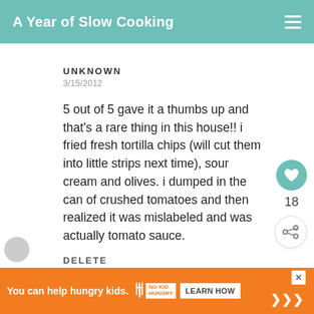A Year of Slow Cooking
UNKNOWN
3/15/2012
5 out of 5 gave it a thumbs up and that's a rare thing in this house!! i fried fresh tortilla chips (will cut them into little strips next time), sour cream and olives. i dumped in the can of crushed tomatoes and then realized it was mislabeled and was actually tomato sauce.
18
DELETE
WHAT'S NEXT → Boiled Peanuts...
You can help hungry kids. NO KID HUNGRY LEARN HOW